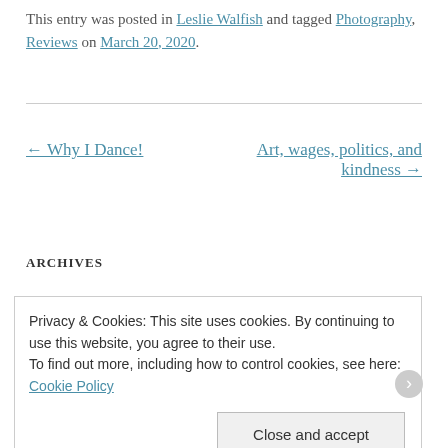This entry was posted in Leslie Walfish and tagged Photography, Reviews on March 20, 2020.
← Why I Dance!
Art, wages, politics, and kindness →
ARCHIVES
Privacy & Cookies: This site uses cookies. By continuing to use this website, you agree to their use.
To find out more, including how to control cookies, see here: Cookie Policy
Close and accept